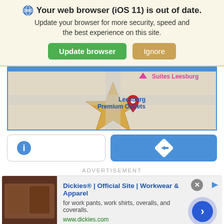🌐 Your web browser (iOS 11) is out of date. Update your browser for more security, speed and the best experience on this site.
Update browser | Ignore
[Figure (screenshot): Google Maps screenshot showing Leesburg Premium Outlets with a red location pin, and a pink downward triangle marker for Suites Leesburg.]
[Figure (screenshot): Two map action buttons: an info (i) button on the left and a directions arrow button on the right (blue).]
ADVERTISEMENT
[Figure (screenshot): Ad for Dickies® | Official Site | Workkwear & Apparel. Shows product image on left, ad text in center, close button top right, and circular navigation button bottom right. URL: www.dickies.com]